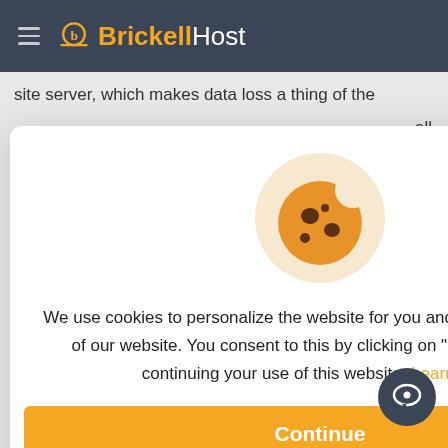BrickellHost
site server, which makes data loss a thing of the
[Figure (illustration): Cookie consent dialog with a cookie icon. Text: We use cookies to personalize the website for you and to analyze the use of our website. You consent to this by clicking on "I Consent" or by continuing your use of this website. Learn More. Button: Continue]
you migrate from your hosting to BrickellHost - free of charge!